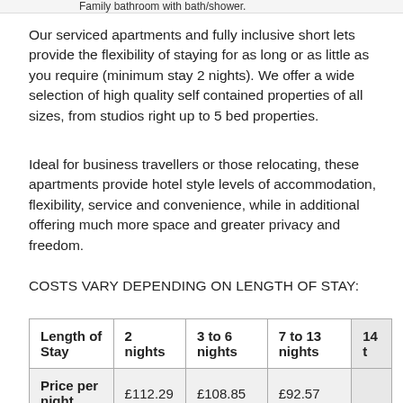Family bathroom with bath/shower.
Our serviced apartments and fully inclusive short lets provide the flexibility of staying for as long or as little as you require (minimum stay 2 nights). We offer a wide selection of high quality self contained properties of all sizes, from studios right up to 5 bed properties.
Ideal for business travellers or those relocating, these apartments provide hotel style levels of accommodation, flexibility, service and convenience, while in additional offering much more space and greater privacy and freedom.
COSTS VARY DEPENDING ON LENGTH OF STAY:
| Length of Stay | 2 nights | 3 to 6 nights | 7 to 13 nights | 14 t… |
| --- | --- | --- | --- | --- |
| Price per night | £112.29 | £108.85 | £92.57 |  |
| Price per week | £786.00 | £762.00 | £648.00 |  |